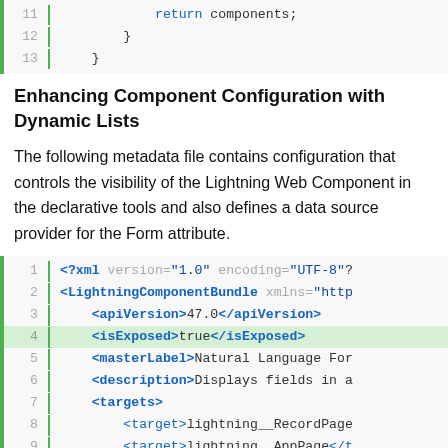[Figure (screenshot): Code block showing lines 11-13 with JavaScript closing braces. Line 11: return components; Line 12: } Line 13: }]
Enhancing Component Configuration with Dynamic Lists
The following metadata file contains configuration that controls the visibility of the Lightning Web Component in the declarative tools and also defines a data source provider for the Form attribute.
[Figure (screenshot): Code block showing XML metadata file lines 1-12. Line 1: <?xml version="1.0" encoding="UTF-8"? Line 2: <LightningComponentBundle xmlns="http Line 3: <apiVersion>47.0</apiVersion> Line 4 (highlighted): <isExposed>true</isExposed> Line 5: <masterLabel>Natural Language For Line 6: <description>Displays fields in a Line 7: <targets> Line 8: <target>lightning__RecordPage Line 9: <target>lightning__AppPage</t Line 10: <target>lightning__HomePage</ Line 11: </targets> Line 12: <targetConfigs>]